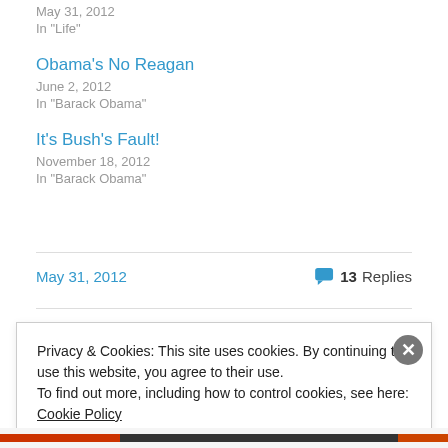May 31, 2012
In "Life"
Obama's No Reagan
June 2, 2012
In "Barack Obama"
It's Bush's Fault!
November 18, 2012
In "Barack Obama"
May 31, 2012   13 Replies
Privacy & Cookies: This site uses cookies. By continuing to use this website, you agree to their use. To find out more, including how to control cookies, see here: Cookie Policy